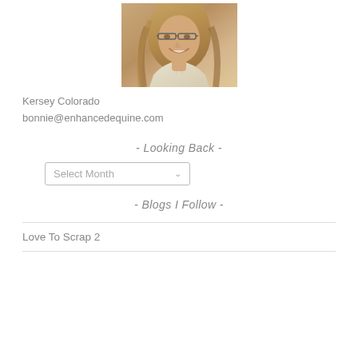[Figure (photo): Portrait photo of a smiling woman with long blond hair, glasses, wearing a light-colored striped top]
Kersey Colorado
bonnie@enhancedequine.com
- Looking Back -
[Figure (other): Dropdown select box with label 'Select Month' and a chevron caret]
- Blogs I Follow -
Love To Scrap 2